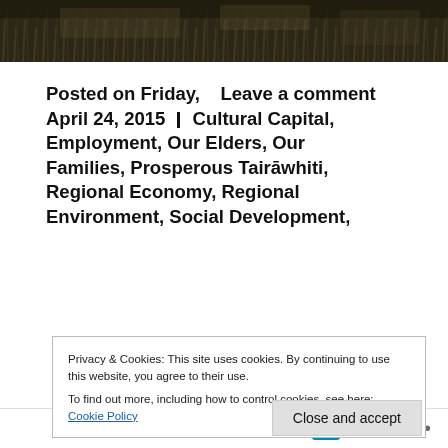[Figure (photo): Dark header photograph showing grass or vegetation against a dark background]
Posted on Friday, April 24, 2015 | Leave a comment | Cultural Capital, Employment, Our Elders, Our Families, Prosperous Tairāwhiti, Regional Economy, Regional Environment, Social Development,
Privacy & Cookies: This site uses cookies. By continuing to use this website, you agree to their use.
To find out more, including how to control cookies, see here: Cookie Policy
Close and accept
Follow